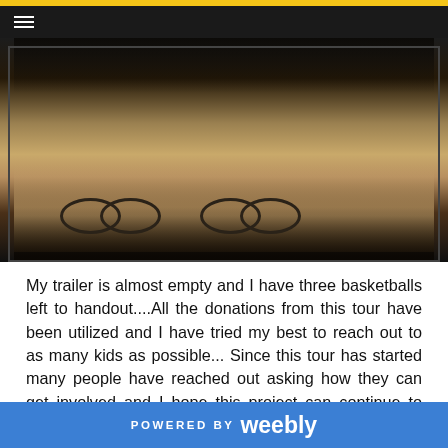[Figure (photo): Crowd of people gathered outdoors on sandy ground, with bicycles visible in the foreground and a group of people standing in the background. Dark navigation bar with hamburger menu and gold bar at top.]
My trailer is almost empty and I have three basketballs left to handout....All the donations from this tour have been utilized and I have tried my best to reach out to as many kids as possible... Since this tour has started many people have reached out asking how they can get involved and I hope this project can continue to grow to achieve greater heights...This is a great educational tool for our future leaders to understand the world and the struggles people endure....As I travel through villages I see certain countries providing aid to schools to improve their educational needs. In the future I hope we can continue to help and I
POWERED BY weebly